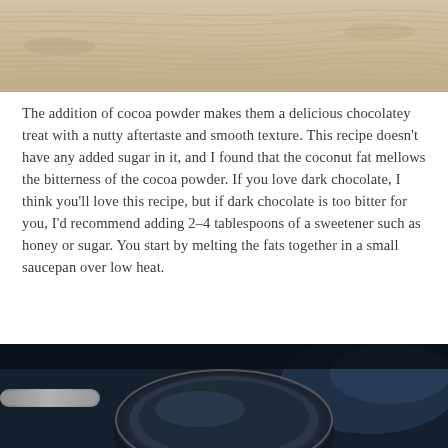[Figure (photo): Top portion of a photo showing a light-colored wood grain surface texture, sandy/beige tones with subtle grain lines.]
The addition of cocoa powder makes them a delicious chocolatey treat with a nutty aftertaste and smooth texture. This recipe doesn't have any added sugar in it, and I found that the coconut fat mellows the bitterness of the cocoa powder. If you love dark chocolate, I think you'll love this recipe, but if dark chocolate is too bitter for you, I'd recommend adding 2-4 tablespoons of a sweetener such as honey or sugar. You start by melting the fats together in a small saucepan over low heat.
[Figure (photo): Bottom portion of a photo showing a dark cooking pot or saucepan on a stovetop, dark background with blue-black tones, chrome handle visible on left.]